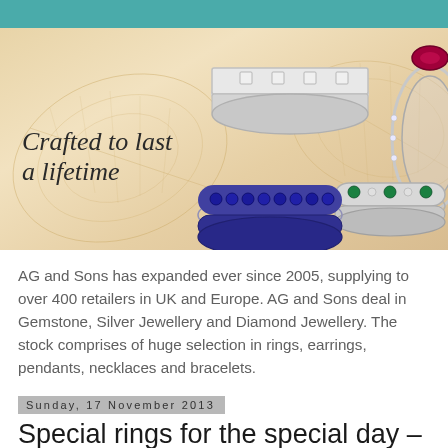[Figure (photo): Jewelry advertisement banner showing multiple gemstone rings on a warm beige/gold background with leaf motifs. Text reads 'Crafted to last a lifetime'. Features silver rings with diamonds, sapphires, emeralds and a ruby.]
AG and Sons has expanded ever since 2005, supplying to over 400 retailers in UK and Europe. AG and Sons deal in Gemstone, Silver Jewellery and Diamond Jewellery. The stock comprises of huge selection in rings, earrings, pendants, necklaces and bracelets.
Sunday, 17 November 2013
Special rings for the special day – Bridal sets